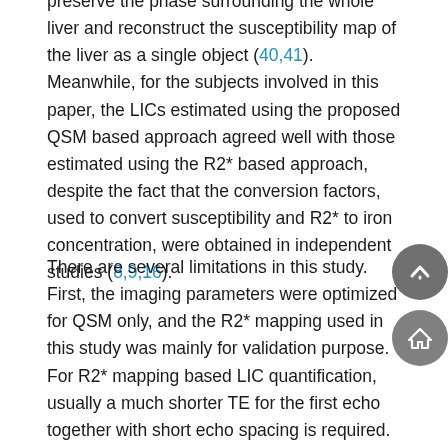preserve the phase surrounding the whole liver and reconstruct the susceptibility map of the liver as a single object (40,41). Meanwhile, for the subjects involved in this paper, the LICs estimated using the proposed QSM based approach agreed well with those estimated using the R2* based approach, despite the fact that the conversion factors, used to convert susceptibility and R2* to iron concentration, were obtained in independent studies (8,9,16).
There are several limitations in this study. First, the imaging parameters were optimized for QSM only, and the R2* mapping used in this study was mainly for validation purpose. For R2* mapping based LIC quantification, usually a much shorter TE for the first echo together with short echo spacing is required. This is again achieved mainly by reducing the imaging resolution which may lead to reduced reliability due to partial volume effects. Second, the effects of water-fat chemical shift were not considered, since we used multiple water-fat in-phase echo times. Although this has simplified the data processing, there may